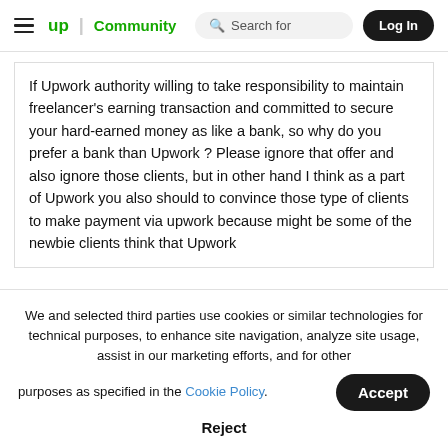≡ up | Community   🔍 Search for   Log In
If Upwork authority willing to take responsibility to maintain freelancer's earning transaction and committed to secure your hard-earned money as like a bank, so why do you prefer a bank than Upwork ? Please ignore that offer and also ignore those clients, but in other hand I think as a part of Upwork you also should to convince those type of clients to make payment via upwork because might be some of the newbie clients think that Upwork
We and selected third parties use cookies or similar technologies for technical purposes, to enhance site navigation, analyze site usage, assist in our marketing efforts, and for other purposes as specified in the Cookie Policy.
Accept
Reject